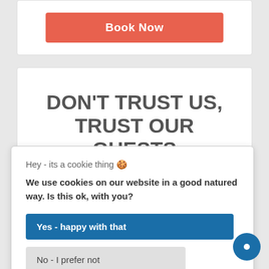[Figure (screenshot): Top portion of a website showing a coral/salmon colored 'Book Now' button inside a white card]
DON'T TRUST US, TRUST OUR GUESTS
or reviews
THE
GROUND
Hey - its a cookie thing 🍪
We use cookies on our website in a good natured way. Is this ok, with you?
Yes - happy with that
No - I prefer not